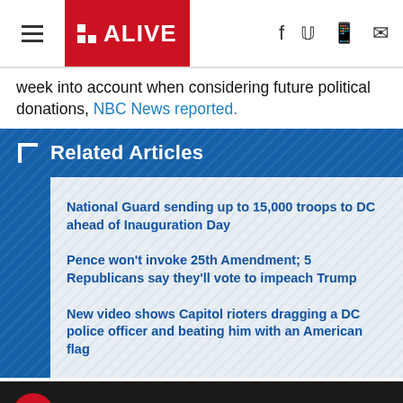11 ALIVE
week into account when considering future political donations, NBC News reported.
Related Articles
National Guard sending up to 15,000 troops to DC ahead of Inauguration Day
Pence won't invoke 25th Amendment; 5 Republicans say they'll vote to impeach Trump
New video shows Capitol rioters dragging a DC police officer and beating him with an American flag
Where Georgia lawmakers stand on...